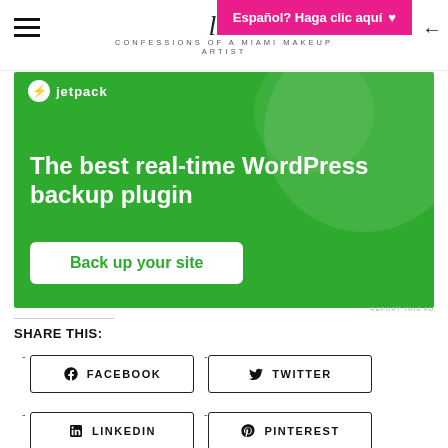Español? Haga clic aquí | CONFESSIONS OF A MIAMI MAKEUP ARTIST
[Figure (screenshot): Jetpack WordPress plugin advertisement with green background showing text 'The best real-time WordPress backup plugin' and a 'Back up your site' button]
SHARE THIS:
FACEBOOK
TWITTER
LINKEDIN
PINTEREST